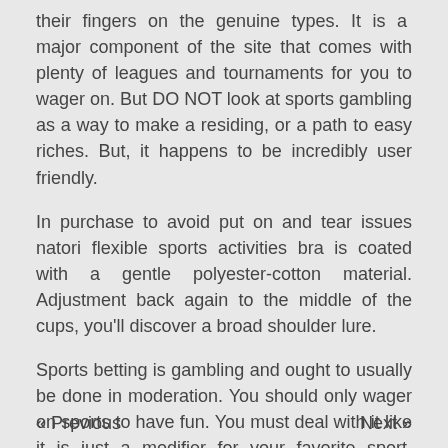their fingers on the genuine types. It is a major component of the site that comes with plenty of leagues and tournaments for you to wager on. But DO NOT look at sports gambling as a way to make a residing, or a path to easy riches. But, it happens to be incredibly user friendly.
In purchase to avoid put on and tear issues natori flexible sports activities bra is coated with a gentle polyester-cotton material. Adjustment back again to the middle of the cups, you'll discover a broad shoulder lure.
Sports betting is gambling and ought to usually be done in moderation. You should only wager on sports to have fun. You must deal with it like it is just a modifier for your favorite sport, another way of supporting your team. So stop becoming an normal spectator, get in the sport!
« Previous    Next »